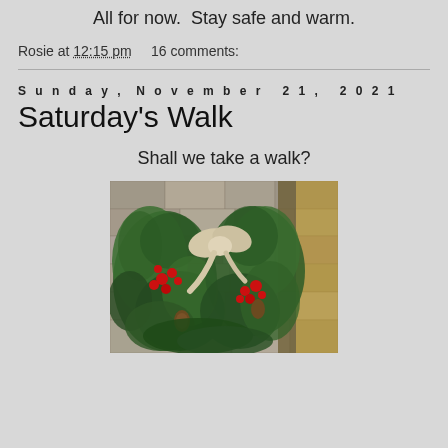All for now.  Stay safe and warm.
Rosie at 12:15 pm     16 comments:
Sunday, November 21, 2021
Saturday's Walk
Shall we take a walk?
[Figure (photo): A Christmas wreath made of evergreen branches, red berries, pine cones, and a cream/burlap bow, mounted on a stone wall outside a building.]